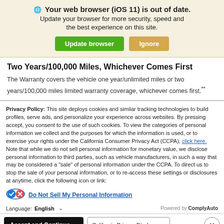[Figure (screenshot): Browser update warning banner with globe icon, bold title 'Your web browser (iOS 11) is out of date.', subtitle text, and two buttons: 'Update browser' (green) and 'Ignore' (tan/gold)]
Two Years/100,000 Miles, Whichever Comes First
The Warranty covers the vehicle one year/unlimited miles or two years/100,000 miles limited warranty coverage, whichever comes first.**
Privacy Policy: This site deploys cookies and similar tracking technologies to build profiles, serve ads, and personalize your experience across websites. By pressing accept, you consent to the use of such cookies. To view the categories of personal information we collect and the purposes for which the information is used, or to exercise your rights under the California Consumer Privacy Act (CCPA), click here. Note that while we do not sell personal information for monetary value, we disclose personal information to third parties, such as vehicle manufacturers, in such a way that may be considered a "sale" of personal information under the CCPA. To direct us to stop the sale of your personal information, or to re-access these settings or disclosures at anytime, click the following icon or link:
[Figure (other): Do Not Sell icon with checkmark and X in blue oval]
Do Not Sell My Personal Information
Language: English  ∨  Powered by ComplyAuto
Accept and Continue →  California Privacy Disclosures  ×